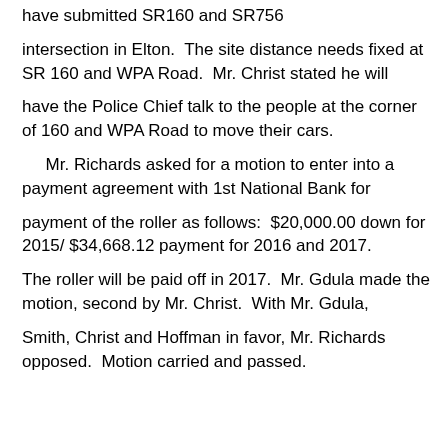have submitted SR160 and SR756
intersection in Elton.  The site distance needs fixed at SR 160 and WPA Road.  Mr. Christ stated he will
have the Police Chief talk to the people at the corner of 160 and WPA Road to move their cars.
Mr. Richards asked for a motion to enter into a payment agreement with 1st National Bank for
payment of the roller as follows:  $20,000.00 down for 2015/ $34,668.12 payment for 2016 and 2017.
The roller will be paid off in 2017.  Mr. Gdula made the motion, second by Mr. Christ.  With Mr. Gdula,
Smith, Christ and Hoffman in favor, Mr. Richards opposed.  Motion carried and passed.